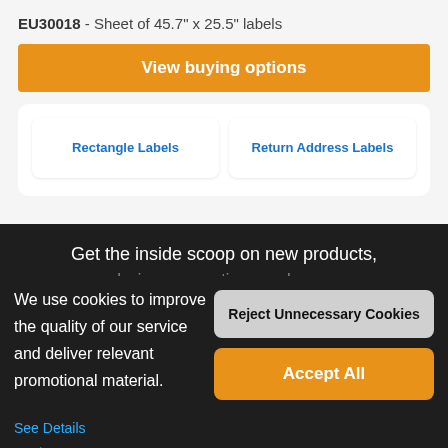EU30018 - Sheet of 45.7" x 25.5" labels
View buying options
Rectangle Labels
Return Address Labels
Get the inside scoop on new products, designs, promotions, and more.
We use cookies to improve the quality of our service and deliver relevant promotional material.
Reject Unnecessary Cookies
Accept All
See Details
Design